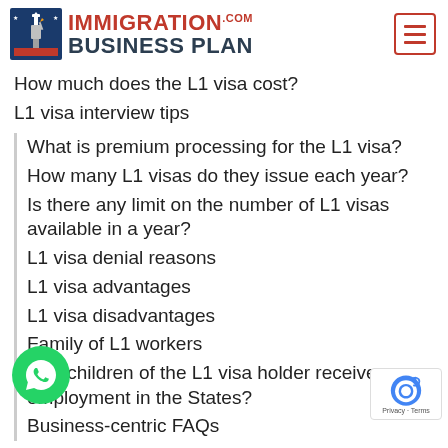[Figure (logo): ImmigrationBusinessPlan.com logo with Statue of Liberty icon and hamburger menu button]
How much does the L1 visa cost?
L1 visa interview tips
What is premium processing for the L1 visa?
How many L1 visas do they issue each year?
Is there any limit on the number of L1 visas available in a year?
L1 visa denial reasons
L1 visa advantages
L1 visa disadvantages
Family of L1 workers
Can children of the L1 visa holder receive employment in the States?
Business-centric FAQs